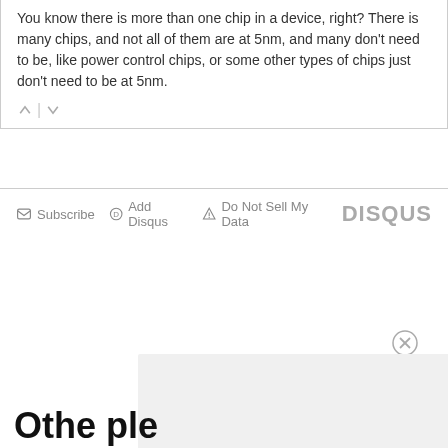You know there is more than one chip in a device, right? There is many chips, and not all of them are at 5nm, and many don't need to be, like power control chips, or some other types of chips just don't need to be at 5nm.
Subscribe  Add Disqus  Do Not Sell My Data  DISQUS
Othe...ple